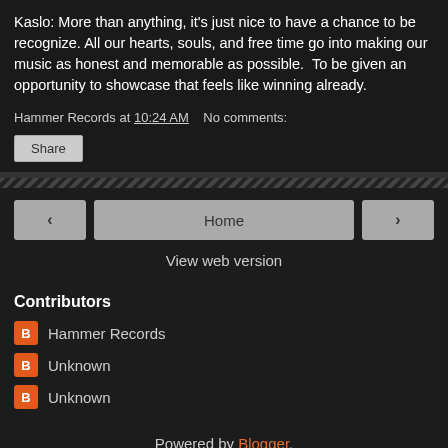Kaslo: More than anything, it's just nice to have a chance to be recognize. All our hearts, souls, and free time go into making our music as honest and memorable as possible.  To be given an opportunity to showcase that feels like winning already.
Hammer Records at 10:24 AM    No comments:
Share
Home
View web version
Contributors
Hammer Records
Unknown
Unknown
Powered by Blogger.